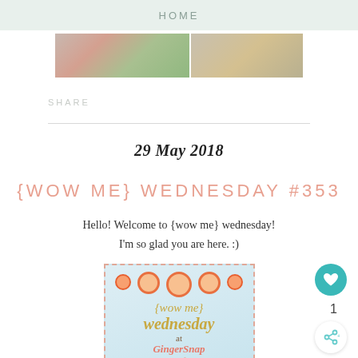HOME
[Figure (photo): Two cropped photos showing plants and greenery]
SHARE
29 May 2018
{WOW ME} WEDNESDAY #353
Hello! Welcome to {wow me} wednesday! I'm so glad you are here. :)
[Figure (illustration): Wow me wednesday at GingerSnap Crafts logo image with pink dashed border, light blue background, orange circles, and stylized text]